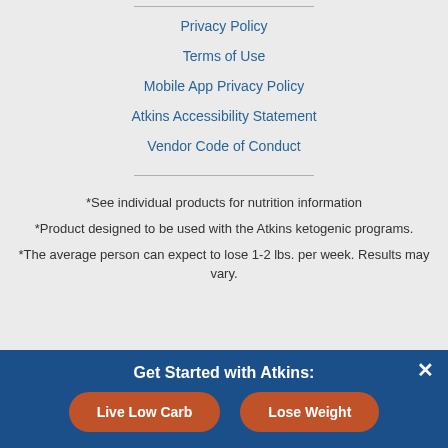Privacy Policy
Terms of Use
Mobile App Privacy Policy
Atkins Accessibility Statement
Vendor Code of Conduct
*See individual products for nutrition information
*Product designed to be used with the Atkins ketogenic programs.
*The average person can expect to lose 1-2 lbs. per week. Results may vary.
Get Started with Atkins: | Live Low Carb | Lose Weight